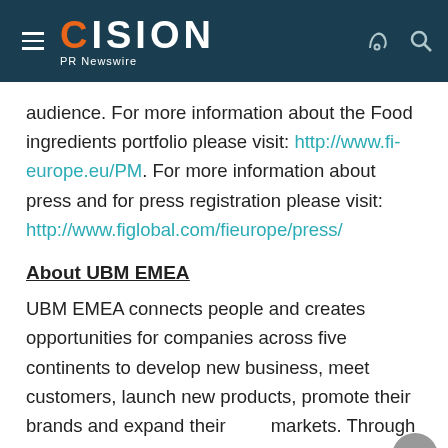Cision PR Newswire
audience. For more information about the Food ingredients portfolio please visit: http://www.fi-europe.eu/PM. For more information about press and for press registration please visit: http://www.figlobal.com/fieurope/press/
About UBM EMEA
UBM EMEA connects people and creates opportunities for companies across five continents to develop new business, meet customers, launch new products, promote their brands and expand their markets. Through premier brands such as Routes,